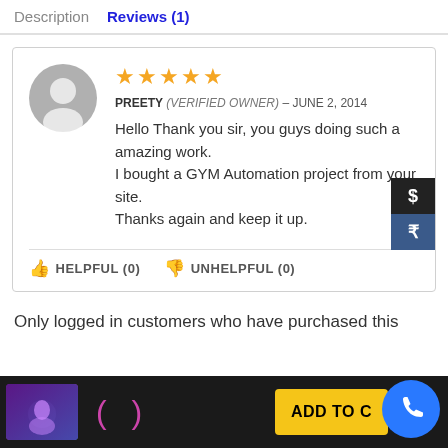Description  Reviews (1)
★★★★★
PREETY (VERIFIED OWNER) – JUNE 2, 2014
Hello Thank you sir, you guys doing such a amazing work.
I bought a GYM Automation project from your site.
Thanks again and keep it up.
HELPFUL (0)   UNHELPFUL (0)
Only logged in customers who have purchased this
[Figure (screenshot): Footer bar with thumbnail image, parentheses icon, ADD TO CART button, and phone FAB button]